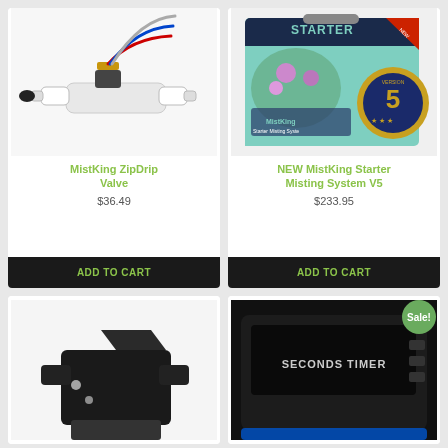[Figure (photo): MistKing ZipDrip Valve product photo - small solenoid valve with wires and fittings on white background]
MistKing ZipDrip Valve
$36.49
ADD TO CART
[Figure (photo): NEW MistKing Starter Misting System V5 product box with green design, flowers, and Version 5 badge]
NEW MistKing Starter Misting System V5
$233.95
ADD TO CART
[Figure (photo): Bottom left product - black mounting bracket or fitting, partially visible]
[Figure (photo): Bottom right product - black device with 'SECONDS TIMER' text visible, with Sale badge]
Sale!